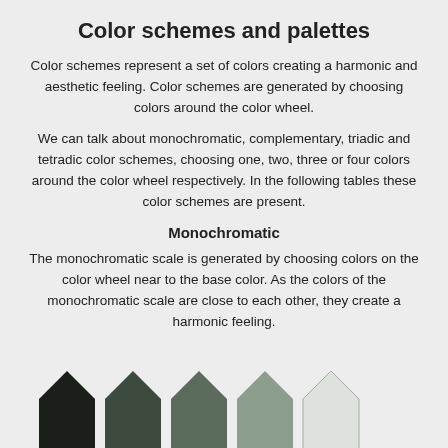Color schemes and palettes
Color schemes represent a set of colors creating a harmonic and aesthetic feeling. Color schemes are generated by choosing colors around the color wheel.
We can talk about monochromatic, complementary, triadic and tetradic color schemes, choosing one, two, three or four colors around the color wheel respectively. In the following tables these color schemes are present.
Monochromatic
The monochromatic scale is generated by choosing colors on the color wheel near to the base color. As the colors of the monochromatic scale are close to each other, they create a harmonic feeling.
[Figure (illustration): Five house-shaped color swatches in a row, ranging from very dark green-black on the left to very light gray on the right, representing a monochromatic color scale.]